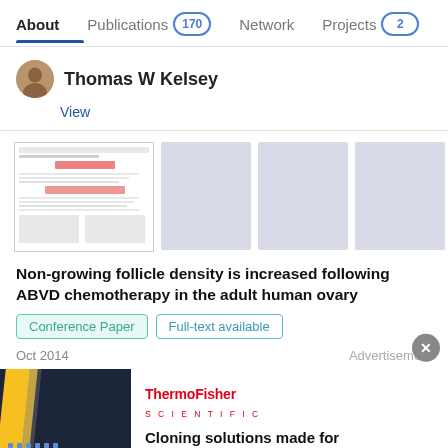About | Publications 170 | Network | Projects 2
Thomas W Kelsey
View
[Figure (screenshot): Thumbnail image of a scientific paper document]
Non-growing follicle density is increased following ABVD chemotherapy in the adult human ovary
Conference Paper
Full-text available
Oct 2014
Advertisement
[Figure (photo): ThermoFisher Scientific advertisement for Cloning solutions made for advancement, dark navy background with yellow stripe and dots, Cloning text label]
Cloning solutions made for advancement